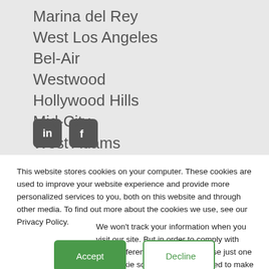Marina del Rey
West Los Angeles
Bel-Air
Westwood
Hollywood Hills
Mid-City
West Adams
Venice
[Figure (screenshot): Two social media icons (LinkedIn and Facebook) shown as dark rounded square buttons]
This website stores cookies on your computer. These cookies are used to improve your website experience and provide more personalized services to you, both on this website and through other media. To find out more about the cookies we use, see our Privacy Policy.
We won't track your information when you visit our site. But in order to comply with your preferences, we'll have to use just one tiny cookie so that you're not asked to make this choice again.
Accept
Decline